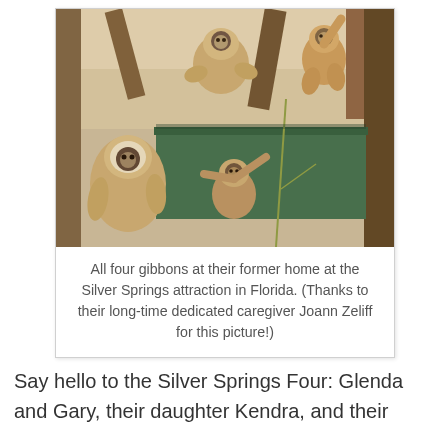[Figure (photo): Four gibbons at their former home at the Silver Springs attraction in Florida. Three gibbons are visible perched on and around a green structure with wooden beams. The animals have white/cream faces and golden-brown fur.]
All four gibbons at their former home at the Silver Springs attraction in Florida. (Thanks to their long-time dedicated caregiver Joann Zeliff for this picture!)
Say hello to the Silver Springs Four: Glenda and Gary, their daughter Kendra, and their